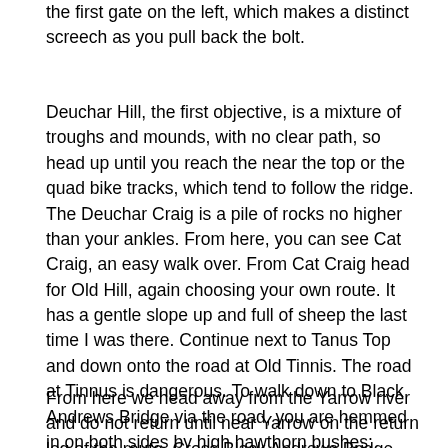the first gate on the left, which makes a distinct screech as you pull back the bolt.
Deuchar Hill, the first objective, is a mixture of troughs and mounds, with no clear path, so head up until you reach the near the top or the quad bike tracks, which tend to follow the ridge. The Deuchar Craig is a pile of rocks no higher than your ankles. From here, you can see Cat Craig, an easy walk over. From Cat Craig head for Old Hill, again choosing your own route. It has a gentle slope up and full of sheep the last time I was there. Continue next to Tanus Top and down onto the road at Old Tinnis. The road at Tinnus is dangerous. To walk down to Black Andrews Bridge via the road, you are hemmed in on both sides by high hawthorn bushes; difficult to avoid the logging lorries, so hop over the gate into the field and walk down to the Yarrowford straights. The bridge is on the bend of the road, so don't head towards Yarrowford.
From here we head away from the Yarrow river and do not return until near Yarrow on the return leg of the route. Cross Black Andrews Bridge and follow the clear gravel track until